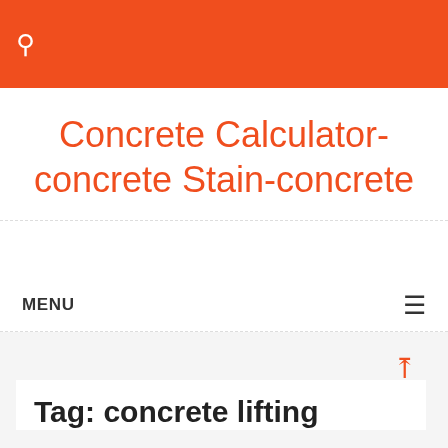🔍
Concrete Calculator-concrete Stain-concrete
MENU
Tag: concrete lifting